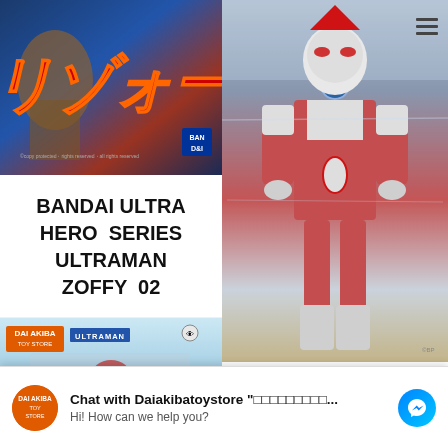[Figure (photo): Bandai Ultra Hero Series Ultraman Zoffy 02 product box image with Japanese title text and BANDAI logo]
BANDAI ULTRA HERO SERIES ULTRAMAN ZOFFY 02
[Figure (photo): Bandai Ultraman action figure in clear plastic packaging, red and silver suit]
BANPRESTO BIG SIZE
[Figure (photo): Dai Akiba Toy Store Ultraman product packaging, partially visible]
ACE
Chat with Daiakibatoystore "□□□□□□□□□...
Hi! How can we help you?